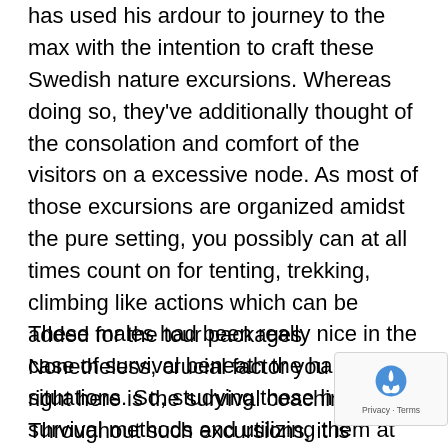has used his ardour to journey to the max with the intention to craft these Swedish nature excursions. Whereas doing so, they've additionally thought of the consolation and comfort of the visitors on a excessive node. As most of those excursions are organized amidst the pure setting, you possibly can at all times count on for tenting, trekking, climbing like actions which can be added for the tour packages. Nonetheless, crucial factor you will get right here is the survival coaching. Throughout such excursions, it is possible for you to to learn the way our ancestors use to reside within the jungle and the way effectively they've utilized the pure sources for his or her residing.
These males had been really nice in the case of survival beneath the hardest situations. So, studying these historic survival methods and utilizing them at any time when needed can carry nice values. Your excursions information Sweden will probably be there to help you